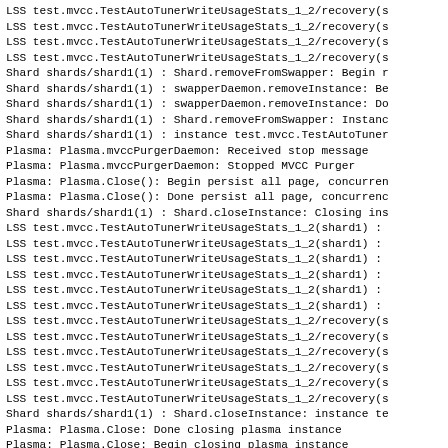LSS test.mvcc.TestAutoTunerWriteUsageStats_1_2/recovery(s
LSS test.mvcc.TestAutoTunerWriteUsageStats_1_2/recovery(s
LSS test.mvcc.TestAutoTunerWriteUsageStats_1_2/recovery(s
LSS test.mvcc.TestAutoTunerWriteUsageStats_1_2/recovery(s
Shard shards/shard1(1) : Shard.removeFromSwapper: Begin r
Shard shards/shard1(1) : swapperDaemon.removeInstance: Be
Shard shards/shard1(1) : swapperDaemon.removeInstance: Do
Shard shards/shard1(1) : Shard.removeFromSwapper: Instanc
Shard shards/shard1(1) : instance test.mvcc.TestAutoTuner
Plasma: Plasma.mvccPurgerDaemon: Received stop message
Plasma: Plasma.mvccPurgerDaemon: Stopped MVCC Purger
Plasma: Plasma.Close(): Begin persist all page, concurren
Plasma: Plasma.Close(): Done persist all page, concurrenc
Shard shards/shard1(1) : Shard.closeInstance: Closing ins
LSS test.mvcc.TestAutoTunerWriteUsageStats_1_2(shard1) :
LSS test.mvcc.TestAutoTunerWriteUsageStats_1_2(shard1) :
LSS test.mvcc.TestAutoTunerWriteUsageStats_1_2(shard1) :
LSS test.mvcc.TestAutoTunerWriteUsageStats_1_2(shard1) :
LSS test.mvcc.TestAutoTunerWriteUsageStats_1_2(shard1) :
LSS test.mvcc.TestAutoTunerWriteUsageStats_1_2(shard1) :
LSS test.mvcc.TestAutoTunerWriteUsageStats_1_2/recovery(s
LSS test.mvcc.TestAutoTunerWriteUsageStats_1_2/recovery(s
LSS test.mvcc.TestAutoTunerWriteUsageStats_1_2/recovery(s
LSS test.mvcc.TestAutoTunerWriteUsageStats_1_2/recovery(s
LSS test.mvcc.TestAutoTunerWriteUsageStats_1_2/recovery(s
LSS test.mvcc.TestAutoTunerWriteUsageStats_1_2/recovery(s
Shard shards/shard1(1) : Shard.closeInstance: instance te
Plasma: Plasma.Close: Done closing plasma instance
Plasma: Plasma.Close: Begin closing plasma instance
Plasma: Plasma.monitor: Received stop message